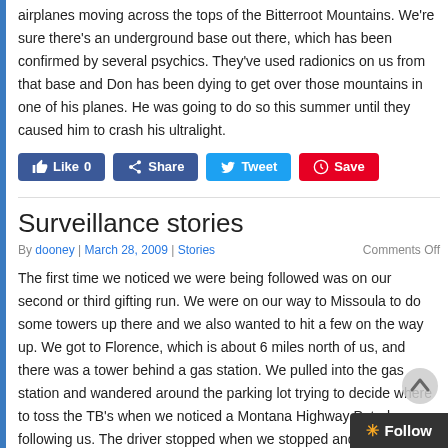airplanes moving across the tops of the Bitterroot Mountains. We're sure there's an underground base out there, which has been confirmed by several psychics. They've used radionics on us from that base and Don has been dying to get over those mountains in one of his planes. He was going to do so this summer until they caused him to crash his ultralight.
[Figure (other): Social media buttons: Like 0 (Facebook), Share (Facebook), Tweet (Twitter), Save (Pinterest)]
Surveillance stories
By dooney | March 28, 2009 | Stories    Comments Off
The first time we noticed we were being followed was on our second or third gifting run. We were on our way to Missoula to do some towers up there and we also wanted to hit a few on the way up. We got to Florence, which is about 6 miles north of us, and there was a tower behind a gas station. We pulled into the gas station and wandered around the parking lot trying to decide where to toss the TB's when we noticed a Montana Highway Patrol car following us. The driver stopped when we stopped and he was staring straight at us, looking like he expected us to throw a grenade out